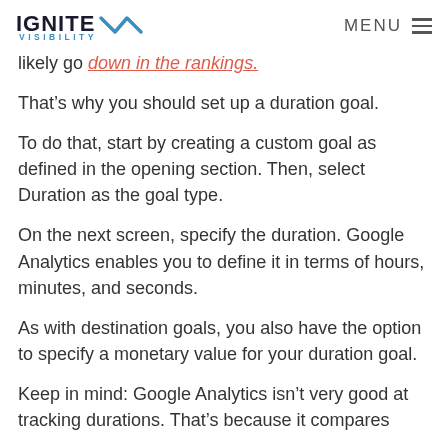IGNITE VISIBILITY | MENU
likely go down in the rankings.
That’s why you should set up a duration goal.
To do that, start by creating a custom goal as defined in the opening section. Then, select Duration as the goal type.
On the next screen, specify the duration. Google Analytics enables you to define it in terms of hours, minutes, and seconds.
As with destination goals, you also have the option to specify a monetary value for your duration goal.
Keep in mind: Google Analytics isn’t very good at tracking durations. That’s because it compares